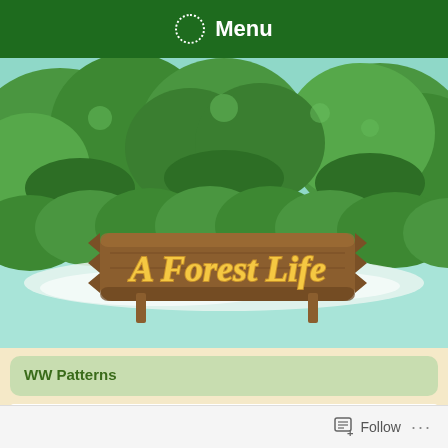Menu
[Figure (illustration): Animal Crossing-style forest scene with green trees, bushes, and a wooden sign reading 'A Forest Life' in yellow lettering on a brown wooden plank background with green foliage.]
WW Patterns
[Figure (illustration): Brown wooden banner with green ivy decoration at top and yellow text reading 'AC:WW Patterns']
Follow ...